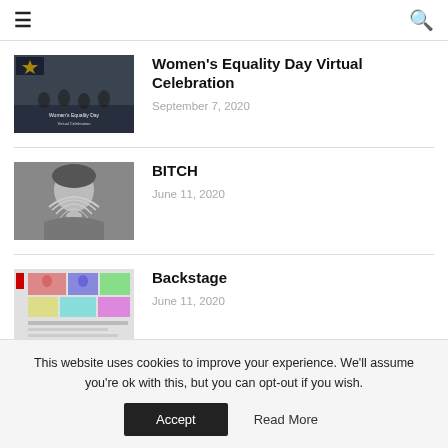≡   🔍
Women's Equality Day Virtual Celebration
September 7, 2020
BITCH
June 11, 2020
Backstage
June 11, 2020
This website uses cookies to improve your experience. We'll assume you're ok with this, but you can opt-out if you wish.